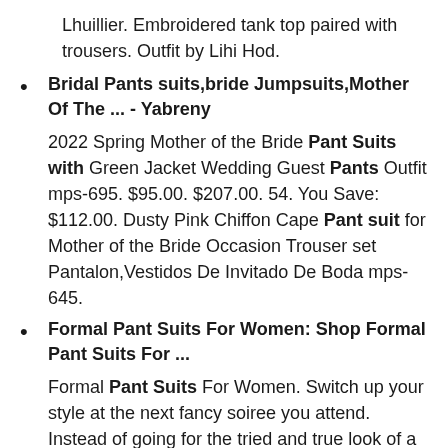Lhuillier. Embroidered tank top paired with trousers. Outfit by Lihi Hod.
Bridal Pants suits,bride Jumpsuits,Mother Of The ... - Yabreny
2022 Spring Mother of the Bride Pant Suits with Green Jacket Wedding Guest Pants Outfit mps-695. $95.00. $207.00. 54. You Save: $112.00. Dusty Pink Chiffon Cape Pant suit for Mother of the Bride Occasion Trouser set Pantalon,Vestidos De Invitado De Boda mps-645.
Formal Pant Suits For Women: Shop Formal Pant Suits For ...
Formal Pant Suits For Women. Switch up your style at the next fancy soiree you attend. Instead of going for the tried and true look of a cocktail dress or evening gown, dabble in the elegance of formal pant suits for women.Perfect for going to a party, watching your son or daughter walk down the aisle